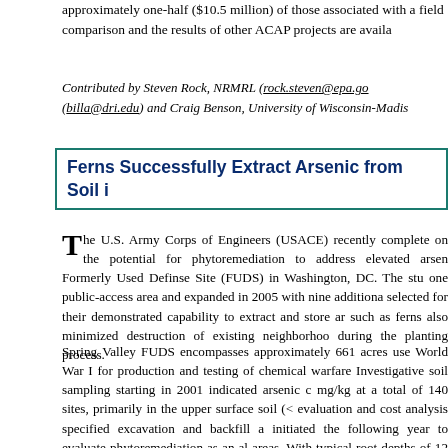approximately one-half ($10.5 million) of those associated with a field comparison and the results of other ACAP projects are availa
Contributed by Steven Rock, NRMRL (rock.steven@epa.go (billa@dri.edu) and Craig Benson, University of Wisconsin-Madis
Ferns Successfully Extract Arsenic from Soil i
The U.S. Army Corps of Engineers (USACE) recently complete on the potential for phytoremediation to address elevated arsen Formerly Used Definse Site (FUDS) in Washington, DC. The stu one public-access area and expanded in 2005 with nine additiona selected for their demonstrated capability to extract and store ar such as ferns also minimized destruction of existing neighborhoo during the planting process.
Spring Valley FUDS encompasses approximately 661 acres use World War I for production and testing of chemical warfare Investigative soil sampling starting in 2001 indicated arsenic c mg/kg at a total of 140 sites, primarily in the upper surface soil (< evaluation and cost analysis specified excavation and backfill a initiated the following year to evaluate phytoremediation as an al areas. With typical root depths of 12 inches, ferns were deemed ca about arsenic concentrations.